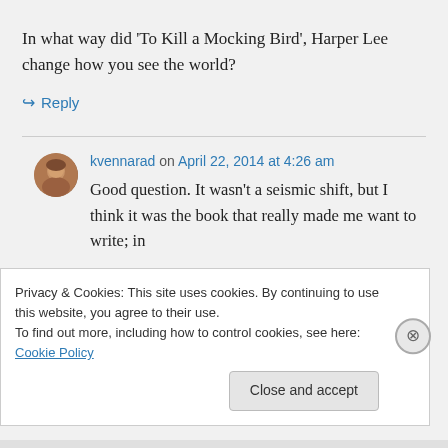In what way did ‘To Kill a Mocking Bird’, Harper Lee change how you see the world?
↪ Reply
kvennarad on April 22, 2014 at 4:26 am
Good question. It wasn’t a seismic shift, but I think it was the book that really made me want to write; in
Privacy & Cookies: This site uses cookies. By continuing to use this website, you agree to their use.
To find out more, including how to control cookies, see here: Cookie Policy
Close and accept